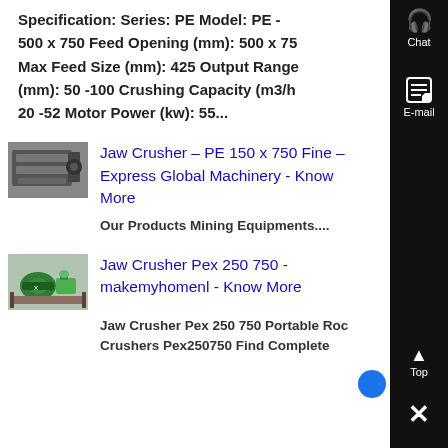Specification: Series: PE Model: PE - 500 x 750 Feed Opening (mm): 500 x 75 Max Feed Size (mm): 425 Output Range (mm): 50 -100 Crushing Capacity (m3/h 20 -52 Motor Power (kw): 55...
[Figure (photo): Thumbnail image of jaw crusher machinery]
Jaw Crusher – PE 150 x 750 Fine – Express Global Machinery - Know More
Our Products Mining Equipments....
[Figure (photo): Thumbnail image of green jaw crusher machine]
Jaw Crusher Pex 250 750 - makemyhomenl - Know More
Jaw Crusher Pex 250 750 Portable Rock Crushers Pex250750 Find Complete